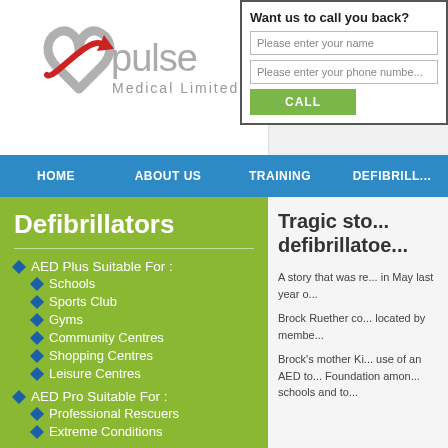[Figure (logo): Pulse Medical Limited logo — grey/silver heart shape with red arrow, text 'pulse Medical Limited' in grey]
Want us to call you back?
Please enter your name
Please enter your phone number
CALL
HOME   ABOUT US   TRAINING   DEFIBRILL...
Defibrillators
AED Plus Suitable For :
Schools
Sports Club
Gyms
Community Centres
Shopping Centres
Leisure Centres
AED Pro Suitable For :
Professional Rescuers
Extreme Conditions
Tragic sto... defibrillatoe...
A story that was re... in May last year o...
Brock Ruether co... located by membe...
Brock's mother Ki... use of an AED to... Foundation amon... schools and to...